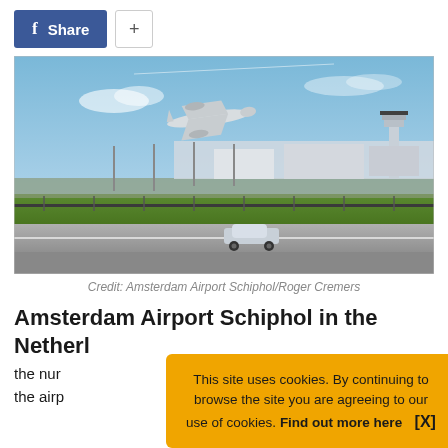[Figure (other): Facebook Share button (blue) and a plus (+) button]
[Figure (photo): Airplane taking off above Amsterdam Airport Schiphol with airport buildings, control tower, parked planes and a car on a road in foreground. Blue sky with light clouds.]
Credit: Amsterdam Airport Schiphol/Roger Cremers
Amsterdam Airport Schiphol in the Netherl
the nur
the airp
This site uses cookies. By continuing to browse the site you are agreeing to our use of cookies. Find out more here   [X]